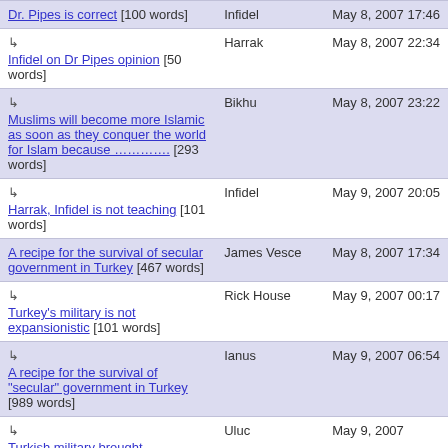| Title | Author | Date |
| --- | --- | --- |
| Dr. Pipes is correct [100 words] | Infidel | May 8, 2007 17:46 |
| ↳ Infidel on Dr Pipes opinion [50 words] | Harrak | May 8, 2007 22:34 |
| ↳ Muslims will become more Islamic as soon as they conquer the world for Islam because ............. [293 words] | Bikhu | May 8, 2007 23:22 |
| ↳ Harrak, Infidel is not teaching [101 words] | Infidel | May 9, 2007 20:05 |
| A recipe for the survival of secular government in Turkey [467 words] | James Vesce | May 8, 2007 17:34 |
| ↳ Turkey's military is not expansionistic [101 words] | Rick House | May 9, 2007 00:17 |
| ↳ A recipe for the survival of "secular" government in Turkey [989 words] | Ianus | May 9, 2007 06:54 |
| ↳ Turkish military brought | Uluc | May 9, 2007 |